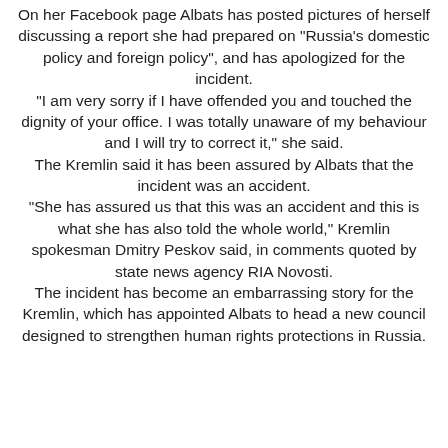On her Facebook page Albats has posted pictures of herself discussing a report she had prepared on "Russia's domestic policy and foreign policy", and has apologized for the incident. "I am very sorry if I have offended you and touched the dignity of your office. I was totally unaware of my behaviour and I will try to correct it," she said. The Kremlin said it has been assured by Albats that the incident was an accident. "She has assured us that this was an accident and this is what she has also told the whole world," Kremlin spokesman Dmitry Peskov said, in comments quoted by state news agency RIA Novosti. The incident has become an embarrassing story for the Kremlin, which has appointed Albats to head a new council designed to strengthen human rights protections in Russia.